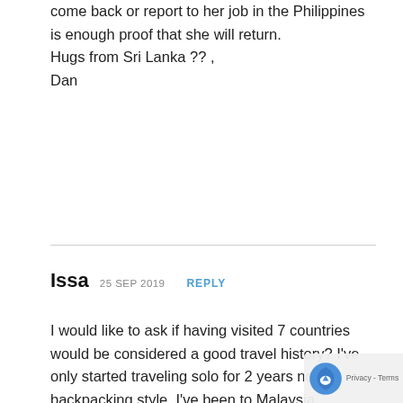come back or report to her job in the Philippines is enough proof that she will return.
Hugs from Sri Lanka ?? ,
Dan
Issa  25 SEP 2019  REPLY
I would like to ask if having visited 7 countries would be considered a good travel history? I've only started traveling solo for 2 years now, backpacking style. I've been to Malaysia, Thailand, Vietnam, HK, Macau, Japan, Taiwan(twice, one solo & one recently with the family). I've noticed that you've been to 21 different countries when you applied so im quite hesitant if they'll consider mine. I work full time and been with the company for more than 3 years. I have enough sav... but my problem here is that I plan on going there by myself(the usual), i have no relatives/friends whatsoever in